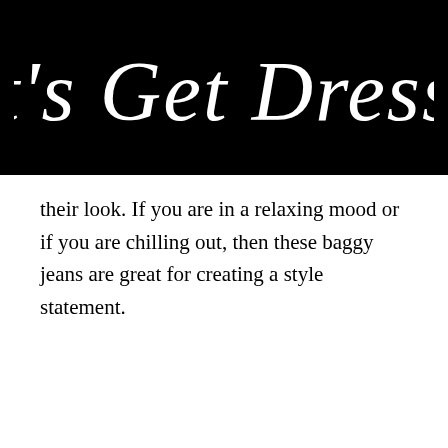[Figure (illustration): Handwritten cursive script logo reading "Let's Get Dressed" in white on a black background]
their look. If you are in a relaxing mood or if you are chilling out, then these baggy jeans are great for creating a style statement.